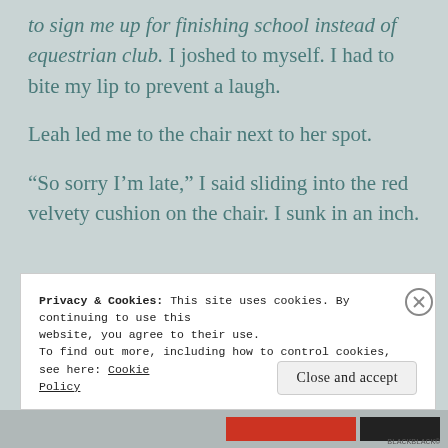to sign me up for finishing school instead of equestrian club. I joshed to myself. I had to bite my lip to prevent a laugh.
Leah led me to the chair next to her spot.
“So sorry I’m late,” I said sliding into the red velvety cushion on the chair. I sunk in an inch.
Privacy & Cookies: This site uses cookies. By continuing to use this website, you agree to their use. To find out more, including how to control cookies, see here: Cookie Policy
Close and accept